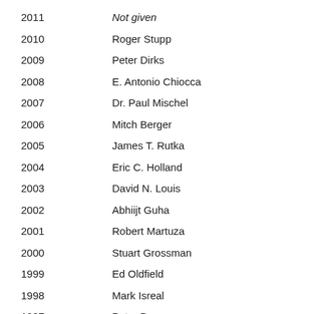2011   Not given
2010   Roger Stupp
2009   Peter Dirks
2008   E. Antonio Chiocca
2007   Dr. Paul Mischel
2006   Mitch Berger
2005   James T. Rutka
2004   Eric C. Holland
2003   David N. Louis
2002   Abhijt Guha
2001   Robert Martuza
2000   Stuart Grossman
1999   Ed Oldfield
1998   Mark Isreal
1997   Peter Berger